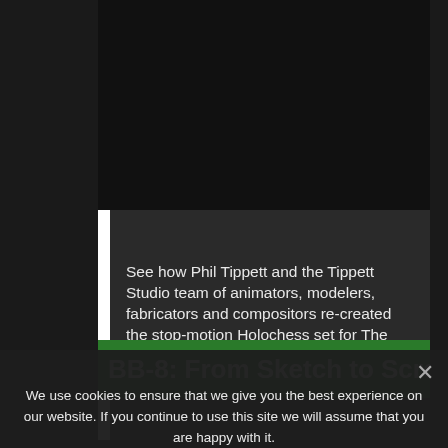[Figure (screenshot): Dark video/media placeholder area at the top of a webpage]
See how Phil Tippett and the Tippett Studio team of animators, modelers, fabricators and compositors re-created the stop-motion Holochess set for The Force Awakens, down to the smallest detail!
BB-8: From Sketch to Screen –
We use cookies to ensure that we give you the best experience on our website. If you continue to use this site we will assume that you are happy with it.
Ok